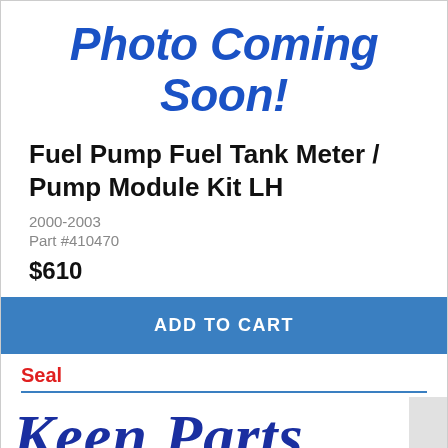[Figure (illustration): Large italic bold blue text reading 'Photo Coming Soon!' on white background]
Fuel Pump Fuel Tank Meter / Pump Module Kit LH
2000-2003
Part #410470
$610
ADD TO CART
Seal
[Figure (logo): Keen Parts cursive logo in dark blue on white background]